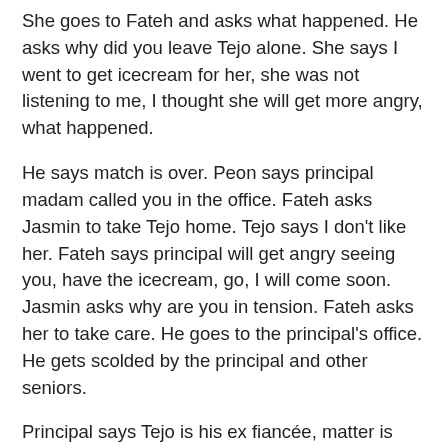She goes to Fateh and asks what happened. He asks why did you leave Tejo alone. She says I went to get icecream for her, she was not listening to me, I thought she will get more angry, what happened.
He says match is over. Peon says principal madam called you in the office. Fateh asks Jasmin to take Tejo home. Tejo says I don't like her. Fateh says principal will get angry seeing you, have the icecream, go, I will come soon. Jasmin asks why are you in tension. Fateh asks her to take care. He goes to the principal's office. He gets scolded by the principal and other seniors.
Principal says Tejo is his ex fiancée, matter is complicated. The man says Fateh was suspended last year. She says yes, but he came back with dignity. The man says a sports teacher can't be so aggressive, its unacceptable. Jasmin says Fateh will lose his job, he will get scolded because of